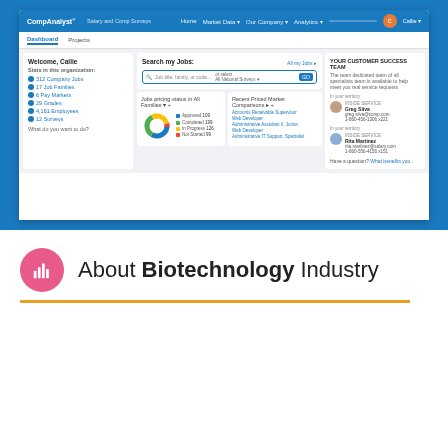[Figure (screenshot): CompAnalyst dashboard screenshot showing welcome screen with job stats, search, donut chart, and customer success contacts]
About Biotechnology Industry
This site uses cookies and other similar technologies to provide site functionality, analyze traffic and usage, and deliver content tailored to your interests. | Learn More
esearch
new
nd
eutica
and